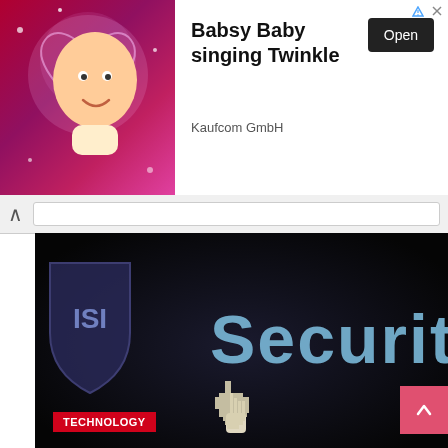[Figure (photo): Advertisement banner: animated baby character (Babsy Baby) on pink glittery background with heart shape]
Babsy Baby singing Twinkle
Kaufcom GmbH
Open
[Figure (photo): Close-up photo of a computer screen showing the word 'Security' in blue text with a hand cursor icon and a security shield logo]
TECHNOLOGY
Android malware apps caught stealing users' Facebook password
1 year ago   Allan
Despite the fact that the platform is constantly monitored,